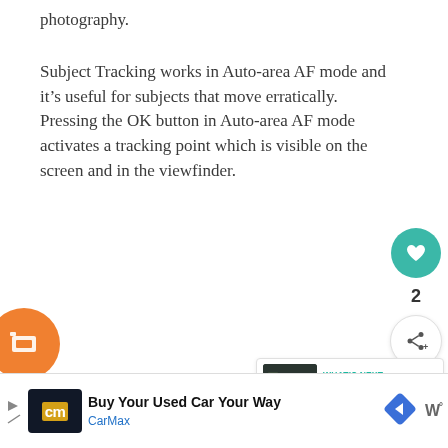photography.
Subject Tracking works in Auto-area AF mode and it's useful for subjects that move erratically. Pressing the OK button in Auto-area AF mode activates a tracking point which is visible on the screen and in the viewfinder.
[Figure (screenshot): Like button (teal heart icon), count '2', and share button floating on right side of page]
[Figure (screenshot): What's Next panel showing camera image thumbnail with label 'WHAT'S NEXT →' and text 'Best cameras for beginner...']
[Figure (screenshot): Three gray dots carousel indicator]
[Figure (screenshot): Advertisement banner: CarMax 'Buy Your Used Car Your Way' with diamond navigation icon and wavy W° logo]